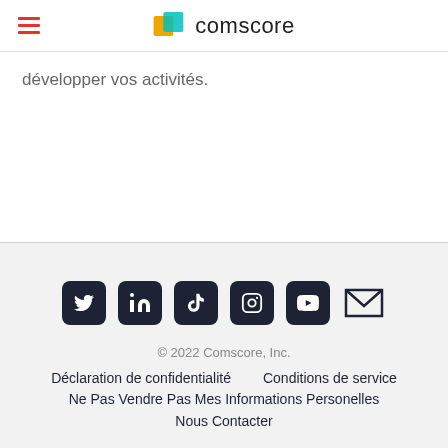comscore
développer vos activités.
[Figure (infographic): Social media icons row: Twitter, LinkedIn, TikTok, Instagram, YouTube, Email]
© 2022 Comscore, Inc.
Déclaration de confidentialité   Conditions de service
Ne Pas Vendre Pas Mes Informations Personelles
Nous Contacter